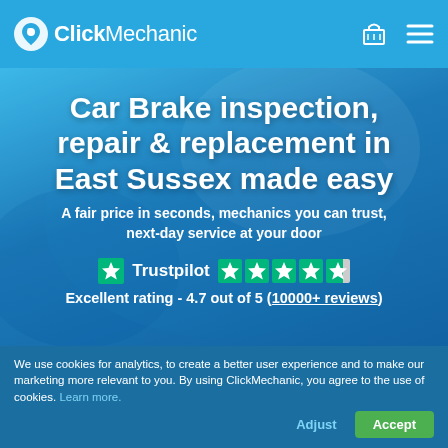ClickMechanic
Car Brake inspection, repair & replacement in East Sussex made easy
A fair price in seconds, mechanics you can trust, next-day service at your door
[Figure (logo): Trustpilot logo with 4.5 green stars rating]
Excellent rating - 4.7 out of 5 (10000+ reviews)
We use cookies for analytics, to create a better user experience and to make our marketing more relevant to you. By using ClickMechanic, you agree to the use of cookies. Learn more.